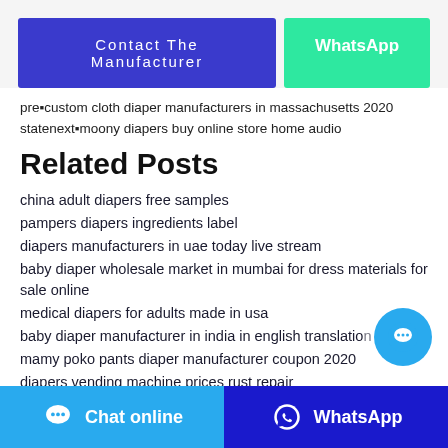[Figure (other): Contact The Manufacturer button (blue) and WhatsApp button (green)]
pre■custom cloth diaper manufacturers in massachusetts 2020 statenext■moony diapers buy online store home audio
Related Posts
china adult diapers free samples
pampers diapers ingredients label
diapers manufacturers in uae today live stream
baby diaper wholesale market in mumbai for dress materials for sale online
medical diapers for adults made in usa
baby diaper manufacturer in india in english translation
mamy poko pants diaper manufacturer coupon 2020
diapers vending machine prices rust repair
Chat online   WhatsApp